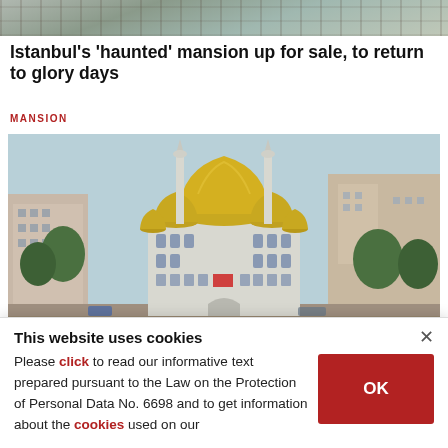[Figure (photo): Top portion of a building photo, cropped — appears to show a historic structure exterior]
Istanbul's 'haunted' mansion up for sale, to return to glory days
MANSION
[Figure (photo): Aerial view of a large mosque with golden domes and two minarets surrounded by urban residential buildings and trees in Istanbul, Turkey]
This website uses cookies
Please click to read our informative text prepared pursuant to the Law on the Protection of Personal Data No. 6698 and to get information about the cookies used on our